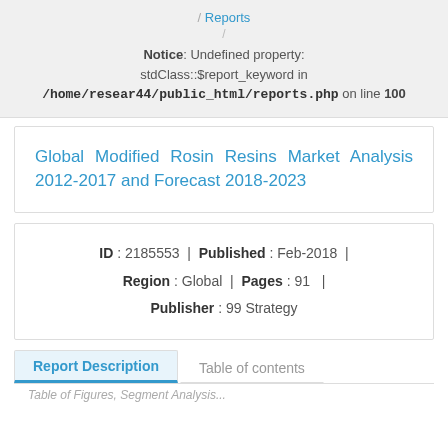/ Reports / Notice: Undefined property: stdClass::$report_keyword in /home/resear44/public_html/reports.php on line 100
Global Modified Rosin Resins Market Analysis 2012-2017 and Forecast 2018-2023
ID : 2185553  |  Published : Feb-2018  |  Region : Global  |  Pages : 91  |  Publisher : 99 Strategy
Report Description
Table of contents